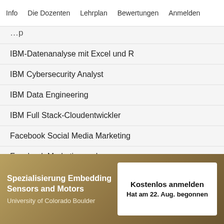Info   Die Dozenten   Lehrplan   Bewertungen   Anmelden
IBM-Datenanalyse mit Excel und R
IBM Cybersecurity Analyst
IBM Data Engineering
IBM Full Stack-Cloudentwickler
Facebook Social Media Marketing
Facebook Marketinganalyse
Salesforce Sales Development Representative
Sales Operations in Salesforce
Buchhaltung mit Intuit
Vorbereitung auf die Google Cloud-Zertifizierung: Cloud Architect
Spezialisierung Embedding Sensors and Motors
University of Colorado Boulder
Kostenlos anmelden
Hat am 22. Aug. begonnen